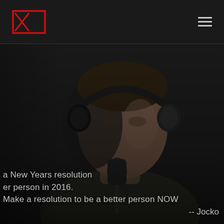Logo and navigation header
[Figure (photo): A man wearing military-style headphones and speaking into a microphone in a dark, dramatic setting. The image is dark-toned with the subject partially lit.]
a New Years resolution er person in 2016. Make a resolution to be a better person NOW -- Jocko